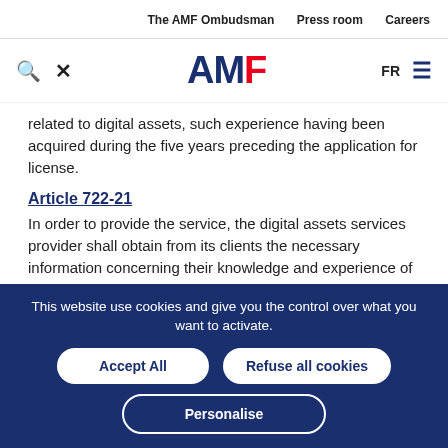The AMF Ombudsman   Press room   Careers
[Figure (logo): AMF logo with search and close icons, FR language toggle and menu icon]
related to digital assets, such experience having been acquired during the five years preceding the application for license.
Article 722-21
In order to provide the service, the digital assets services provider shall obtain from its clients the necessary information concerning their knowledge and experience of trading in digital assets, their financial situation,
This website use cookies and give you the control over what you want to activate.
Accept All   Refuse all cookies   Personalise